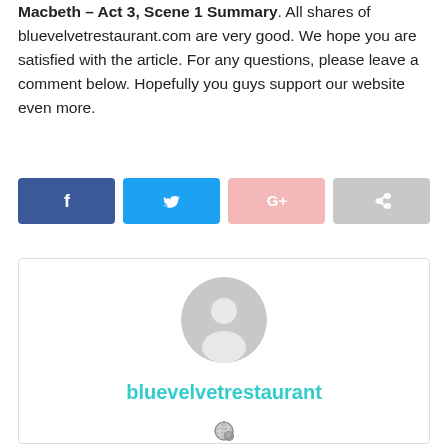Macbeth – Act 3, Scene 1 Summary. All shares of bluevelvetrestaurant.com are very good. We hope you are satisfied with the article. For any questions, please leave a comment below. Hopefully you guys support our website even more.
[Figure (other): Social sharing buttons: Facebook (dark blue with f icon), Twitter (light blue with bird icon), Google+ (pink/light red with G+ icon), Share (gray with arrow icon)]
[Figure (other): Author card with gray default avatar (person silhouette in circle), author name 'bluevelvetrestaurant' in teal/cyan color, and a globe icon below]